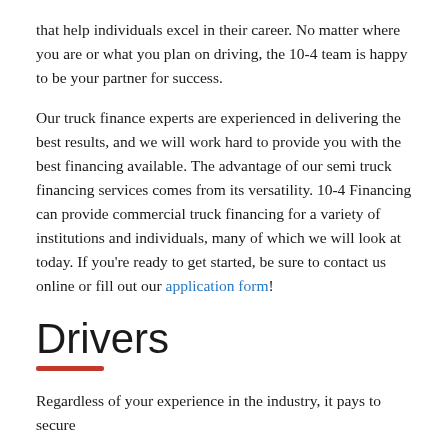that help individuals excel in their career. No matter where you are or what you plan on driving, the 10-4 team is happy to be your partner for success.
Our truck finance experts are experienced in delivering the best results, and we will work hard to provide you with the best financing available. The advantage of our semi truck financing services comes from its versatility. 10-4 Financing can provide commercial truck financing for a variety of institutions and individuals, many of which we will look at today. If you're ready to get started, be sure to contact us online or fill out our application form!
Drivers
Regardless of your experience in the industry, it pays to secure semi-truck financing for your business through 10-4 Financing.